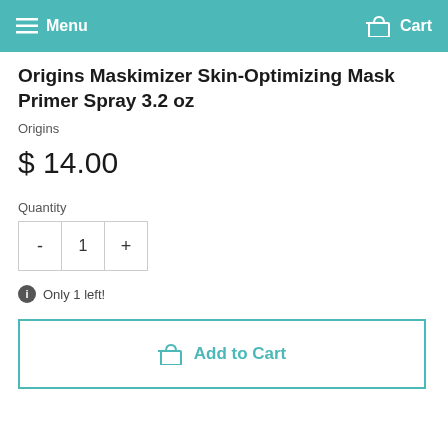Menu  Cart
Origins Maskimizer Skin-Optimizing Mask Primer Spray 3.2 oz
Origins
$ 14.00
Quantity
- 1 +
Only 1 left!
Add to Cart